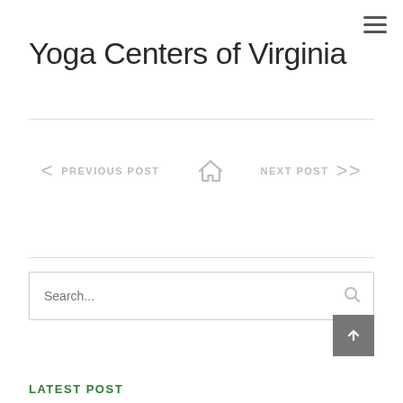Yoga Centers of Virginia
< PREVIOUS POST  🏠  NEXT POST >
Search...
LATEST POST